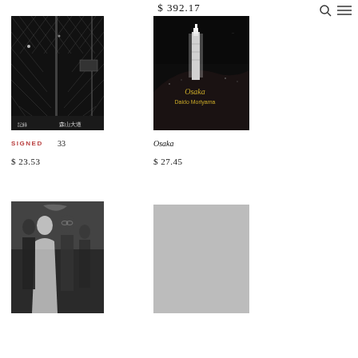$ 392.17
[Figure (other): Black and white photo book cover with chain-link fence, Japanese text reading 記録 森山大道]
[Figure (other): Dark photo book cover with illuminated tower at night, title reads Osaka Daido Moriyama in gold text]
SIGNED
33
Osaka
$ 23.53
$ 27.45
[Figure (photo): Black and white photo book cover showing wedding scene with people in formal attire]
[Figure (photo): Light gray photo book cover, plain gray surface]